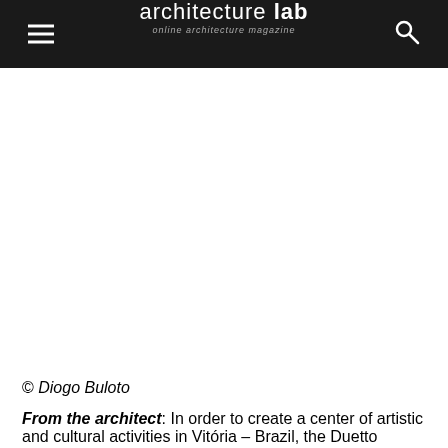architecture lab — online architecture magazine
[Figure (photo): White blank image area below the header navigation bar]
© Diogo Buloto
From the architect: In order to create a center of artistic and cultural activities in Vitória – Brazil, the Duetto project was